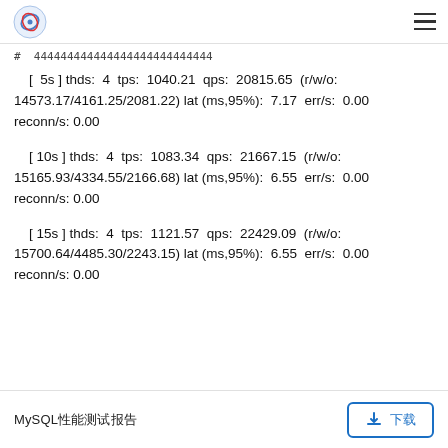[logo] [hamburger menu]
# 444444444444444444444444444
[ 5s ] thds: 4 tps: 1040.21 qps: 20815.65 (r/w/o: 14573.17/4161.25/2081.22) lat (ms,95%): 7.17 err/s: 0.00 reconn/s: 0.00
[ 10s ] thds: 4 tps: 1083.34 qps: 21667.15 (r/w/o: 15165.93/4334.55/2166.68) lat (ms,95%): 6.55 err/s: 0.00 reconn/s: 0.00
[ 15s ] thds: 4 tps: 1121.57 qps: 22429.09 (r/w/o: 15700.64/4485.30/2243.15) lat (ms,95%): 6.55 err/s: 0.00 reconn/s: 0.00
MySQL性能测试报告 [下载]